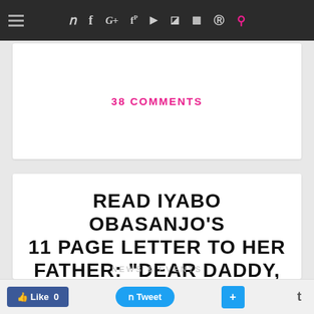Navigation bar with social media icons: Twitter, Facebook, Google+, Pinterest, YouTube, Chat, Instagram, Pinterest, Search
38 COMMENTS
READ IYABO OBASANJO'S 11 PAGE LETTER TO HER FATHER: "DEAR DADDY, YOU DON'T OWN NIGERIA..."
Like 0  Tweet  +  t